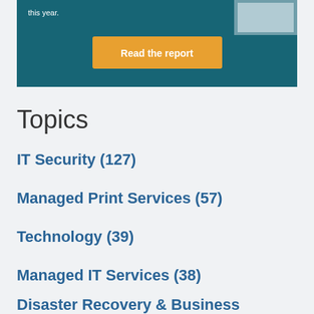[Figure (other): Dark teal promotional banner with orange 'Read the report' button and partial white text 'this year.' visible at top left, with a partial image of a report cover at top right]
Topics
IT Security (127)
Managed Print Services (57)
Technology (39)
Managed IT Services (38)
Disaster Recovery & Business